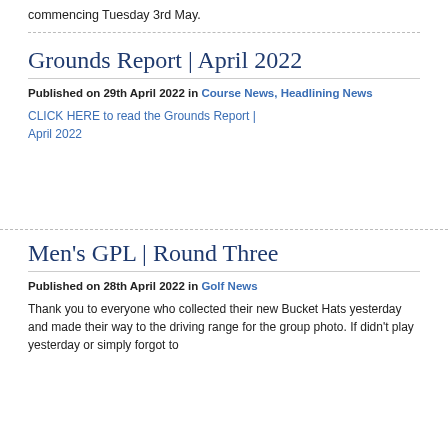commencing Tuesday 3rd May.
Grounds Report | April 2022
Published on 29th April 2022 in Course News, Headlining News
CLICK HERE to read the Grounds Report | April 2022
Men's GPL | Round Three
Published on 28th April 2022 in Golf News
Thank you to everyone who collected their new Bucket Hats yesterday and made their way to the driving range for the group photo. If didn't play yesterday or simply forgot to